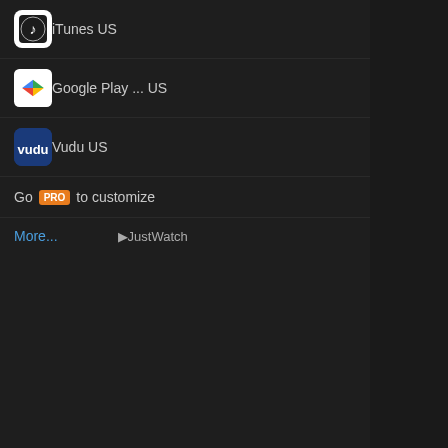iTunes US
Google Play ... US
Vudu US
Go PRO to customize
More... ▶JustWatch
to the entire cast for giving authe moments to savour.Matthew,Mac and Jessica are the standout perf of tears while watching the depar my daughters so much.Ambiguit experience worth it.Science is a v explain it to anyone without takin liberties.While directors around y you have taken the risks and follo would like to mention Hans Zimm Score as a career benchmark righ Dark Knight and Inception.My H when i did see the twist!
Your's Lovingly
Stanley Kubrick
112 likes